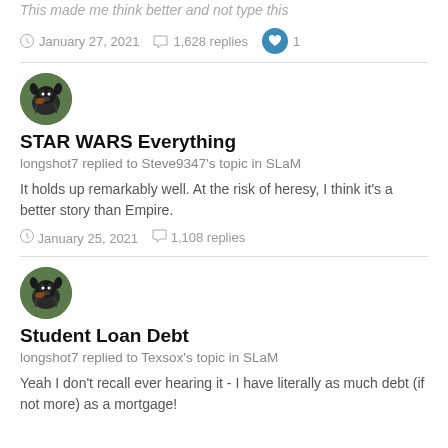This made me think better and not type this
January 27, 2021   1,628 replies   1
[Figure (photo): Circular avatar photo of a dog (dark colored, large breed) against green foliage background]
STAR WARS Everything
longshot7 replied to Steve9347's topic in SLaM
It holds up remarkably well. At the risk of heresy, I think it's a better story than Empire.
January 25, 2021   1,108 replies
[Figure (photo): Circular avatar photo of a dog (dark colored, large breed) against green foliage background]
Student Loan Debt
longshot7 replied to Texsox's topic in SLaM
Yeah I don't recall ever hearing it - I have literally as much debt (if not more) as a mortgage!